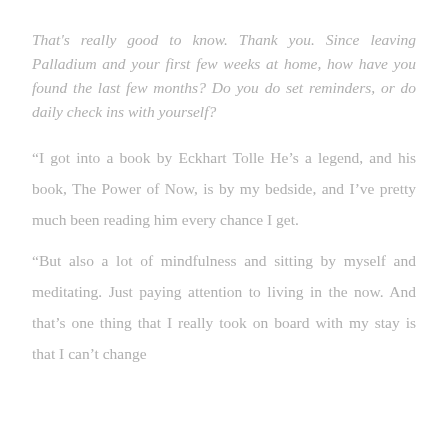That's really good to know. Thank you. Since leaving Palladium and your first few weeks at home, how have you found the last few months? Do you do set reminders, or do daily check ins with yourself?
“I got into a book by Eckhart Tolle He’s a legend, and his book, The Power of Now, is by my bedside, and I’ve pretty much been reading him every chance I get.
“But also a lot of mindfulness and sitting by myself and meditating. Just paying attention to living in the now. And that’s one thing that I really took on board with my stay is that I can’t change